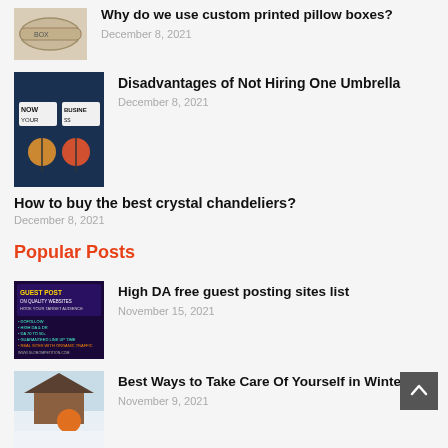[Figure (photo): Thumbnail of a custom printed pillow box (kraft/tan box)]
Why do we use custom printed pillow boxes?
December 8, 2021
[Figure (photo): Thumbnail showing hands holding signs reading NOW YOUR BUSINESS on dark background]
Disadvantages of Not Hiring One Umbrella
December 8, 2021
How to buy the best crystal chandeliers?
December 8, 2021
Popular Posts
[Figure (photo): Thumbnail for guest post article with dark purple background and text listings]
High DA free guest posting sites list
November 15, 2021
[Figure (photo): Thumbnail of person in orange jacket in snowy winter scene with cabin]
Best Ways to Take Care Of Yourself in Winter
November 9, 2021
[Figure (photo): Thumbnail with pink background for Mocha article]
Mocha joins festive sale bandwagon with